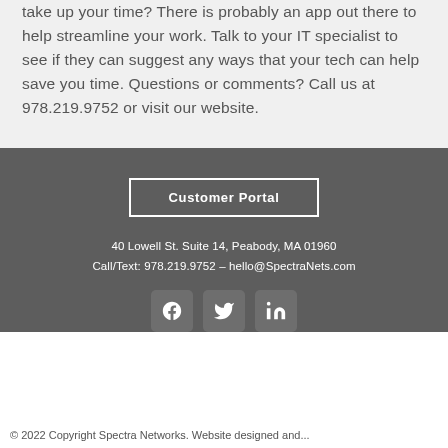take up your time? There is probably an app out there to help streamline your work. Talk to your IT specialist to see if they can suggest any ways that your tech can help save you time. Questions or comments? Call us at 978.219.9752 or visit our website.
Customer Portal
40 Lowell St. Suite 14, Peabody, MA 01960
Call/Text: 978.219.9752 – hello@SpectraNets.com
[Figure (illustration): Three social media icons: Facebook, Twitter, LinkedIn]
© 2022 Copyright Spectra Networks. Website designed and...